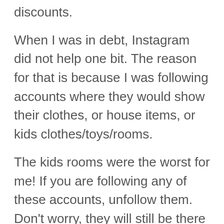discounts.
When I was in debt, Instagram did not help one bit. The reason for that is because I was following accounts where they would show their clothes, or house items, or kids clothes/toys/rooms.
The kids rooms were the worst for me! If you are following any of these accounts, unfollow them. Don't worry, they will still be there if you need a bit of inspo, but what we tend to forget with social media is that people only